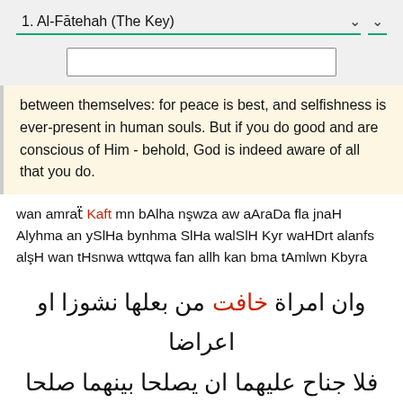1. Al-Fātehah (The Key)
between themselves: for peace is best, and selfishness is ever-present in human souls. But if you do good and are conscious of Him - behold, God is indeed aware of all that you do.
wan amraẗ Kaft mn bAlha nşwza aw aAraDa fla jnaH Alyhma an ySlHa bynhma SlHa walSlH Kyr waHDrt alanfs alşH wan tHsnwa wttqwa fan allh kan bma tAmlwn Kbyra
وان امراة خافت من بعلها نشوزا او اعراضا فلا جناح عليهما ان يصلحا بينهما صلحا والصلح خير واحضرت الانفس الشح وان